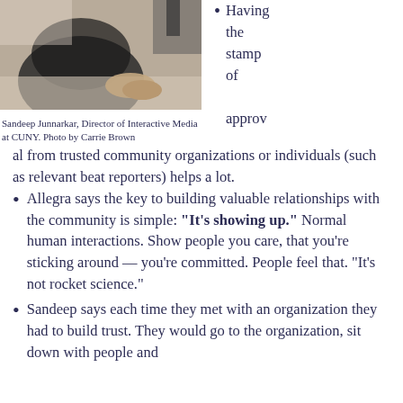[Figure (photo): Person sitting at a desk with hands clasped, viewed from above. Photo by Carrie Brown.]
Sandeep Junnarkar, Director of Interactive Media at CUNY. Photo by Carrie Brown
Having the stamp of approval from trusted community organizations or individuals (such as relevant beat reporters) helps a lot.
Allegra says the key to building valuable relationships with the community is simple: “It’s showing up.” Normal human interactions. Show people you care, that you’re sticking around — you’re committed. People feel that. “It’s not rocket science.”
Sandeep says each time they met with an organization they had to build trust. They would go to the organization, sit down with people and